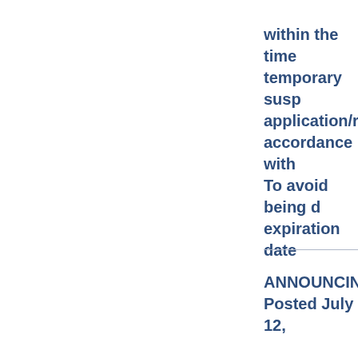within the time temporary suspension application/registration accordance with To avoid being expiration date
ANNOUNCING Posted July 12,
TEXAS ASBESTO
The Texas Asbes at The Asbestos